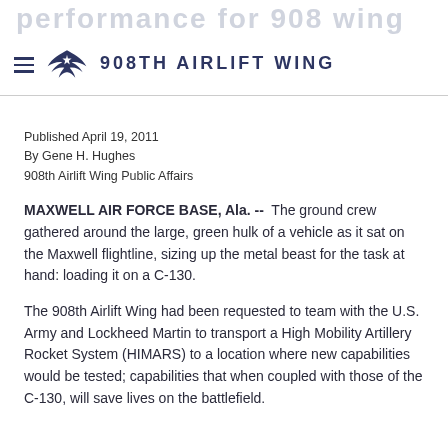908TH AIRLIFT WING
Published April 19, 2011
By Gene H. Hughes
908th Airlift Wing Public Affairs
MAXWELL AIR FORCE BASE, Ala. --  The ground crew gathered around the large, green hulk of a vehicle as it sat on the Maxwell flightline, sizing up the metal beast for the task at hand: loading it on a C-130.
The 908th Airlift Wing had been requested to team with the U.S. Army and Lockheed Martin to transport a High Mobility Artillery Rocket System (HIMARS) to a location where new capabilities would be tested; capabilities that when coupled with those of the C-130, will save lives on the battlefield.